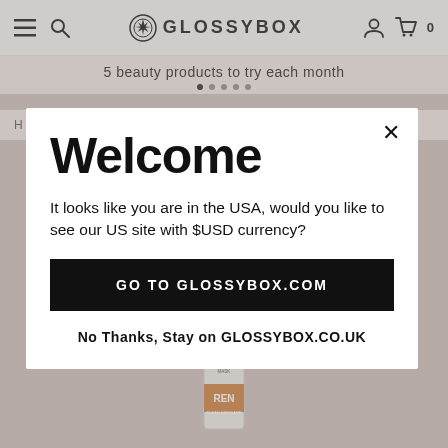GLOSSYBOX
5 beauty products to try each month
Welcome
It looks like you are in the USA, would you like to see our US site with $USD currency?
GO TO GLOSSYBOX.COM
No Thanks, Stay on GLOSSYBOX.CO.UK
[Figure (photo): REN skincare product bottle (Glycolactic Radiance Renewal Mask)]